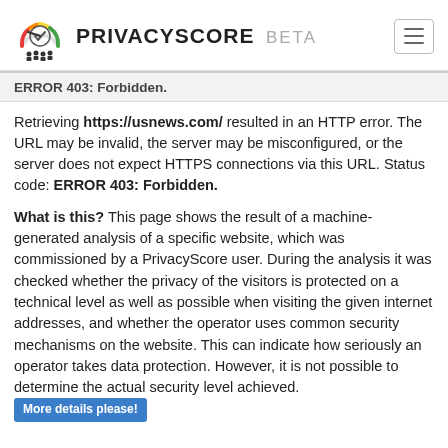PRIVACYSCORE BETA
ERROR 403: Forbidden.
Retrieving https://usnews.com/ resulted in an HTTP error. The URL may be invalid, the server may be misconfigured, or the server does not expect HTTPS connections via this URL. Status code: ERROR 403: Forbidden.
What is this? This page shows the result of a machine-generated analysis of a specific website, which was commissioned by a PrivacyScore user. During the analysis it was checked whether the privacy of the visitors is protected on a technical level as well as possible when visiting the given internet addresses, and whether the operator uses common security mechanisms on the website. This can indicate how seriously an operator takes data protection. However, it is not possible to determine the actual security level achieved. More details please!